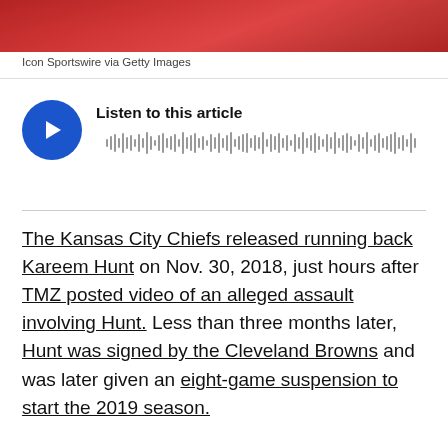[Figure (photo): Partial photo of a person wearing a red jersey, cropped at top of page]
Icon Sportswire via Getty Images
[Figure (other): Audio player widget with blue circular play button and waveform visualization. Title reads: Listen to this article]
The Kansas City Chiefs released running back Kareem Hunt on Nov. 30, 2018, just hours after TMZ posted video of an alleged assault involving Hunt. Less than three months later, Hunt was signed by the Cleveland Browns and was later given an eight-game suspension to start the 2019 season.